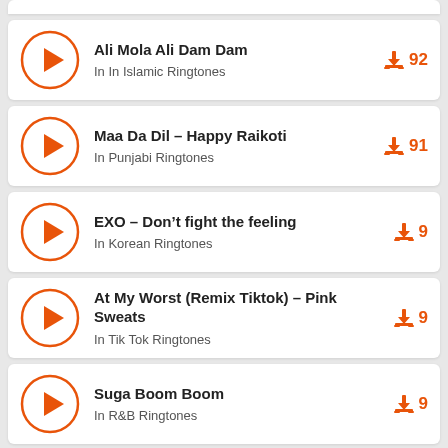Ali Mola Ali Dam Dam | In In Islamic Ringtones | 92 downloads
Maa Da Dil – Happy Raikoti | In Punjabi Ringtones | 91 downloads
EXO – Don't fight the feeling | In Korean Ringtones | 9 downloads
At My Worst (Remix Tiktok) – Pink Sweats | In Tik Tok Ringtones | 9 downloads
Suga Boom Boom | In R&B Ringtones | 9 downloads